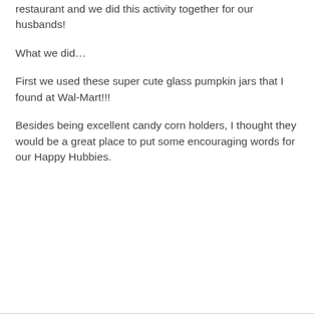restaurant and we did this activity together for our husbands!
What we did…
First we used these super cute glass pumpkin jars that I found at Wal-Mart!!!
Besides being excellent candy corn holders, I thought they would be a great place to put some encouraging words for our Happy Hubbies.